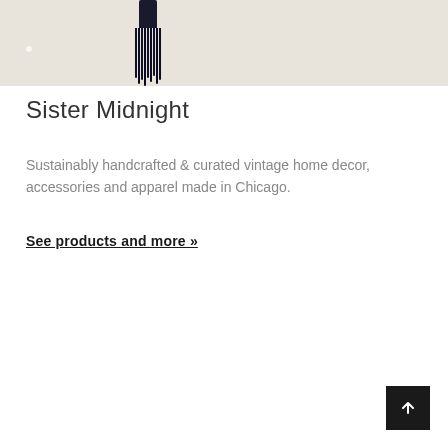[Figure (photo): A dark navy/black tassel hanging against a light beige/cream background, photographed from above with the tassel's knotted top and long strands visible.]
Sister Midnight
Sustainably handcrafted & curated vintage home decor, accessories and apparel made in Chicago.
See products and more »